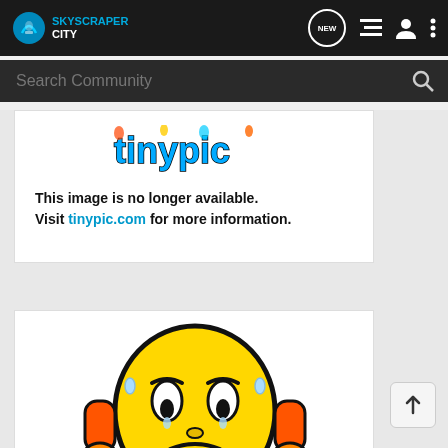SkyscraperCity - NEW button, list icon, user icon, menu icon
Search Community
[Figure (screenshot): Broken tinypic.com image placeholder with colorful graffiti-style logo at top]
This image is no longer available. Visit tinypic.com for more information.
[Figure (illustration): Worried yellow emoji character with orange hands on head, blue shoes, tears, on white background]